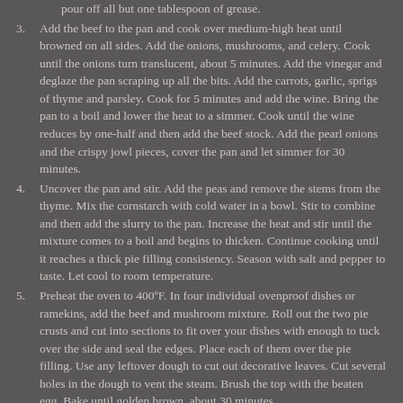pour off all but one tablespoon of grease.
3. Add the beef to the pan and cook over medium-high heat until browned on all sides. Add the onions, mushrooms, and celery. Cook until the onions turn translucent, about 5 minutes. Add the vinegar and deglaze the pan scraping up all the bits. Add the carrots, garlic, sprigs of thyme and parsley. Cook for 5 minutes and add the wine. Bring the pan to a boil and lower the heat to a simmer. Cook until the wine reduces by one-half and then add the beef stock. Add the pearl onions and the crispy jowl pieces, cover the pan and let simmer for 30 minutes.
4. Uncover the pan and stir. Add the peas and remove the stems from the thyme. Mix the cornstarch with cold water in a bowl. Stir to combine and then add the slurry to the pan. Increase the heat and stir until the mixture comes to a boil and begins to thicken. Continue cooking until it reaches a thick pie filling consistency. Season with salt and pepper to taste. Let cool to room temperature.
5. Preheat the oven to 400ºF. In four individual ovenproof dishes or ramekins, add the beef and mushroom mixture. Roll out the two pie crusts and cut into sections to fit over your dishes with enough to tuck over the side and seal the edges. Place each of them over the pie filling. Use any leftover dough to cut out decorative leaves. Cut several holes in the dough to vent the steam. Brush the top with the beaten egg. Bake until golden brown, about 30 minutes.